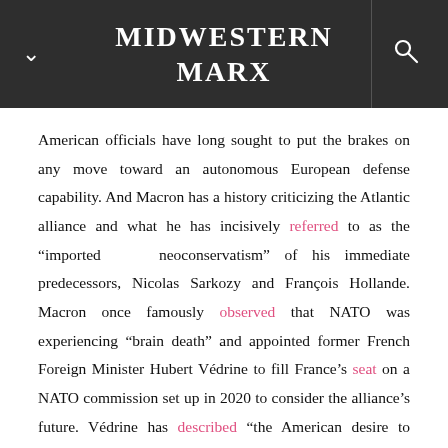MIDWESTERN MARX
American officials have long sought to put the brakes on any move toward an autonomous European defense capability. And Macron has a history criticizing the Atlantic alliance and what he has incisively referred to as the “imported neoconservatism” of his immediate predecessors, Nicolas Sarkozy and François Hollande. Macron once famously observed that NATO was experiencing “brain death” and appointed former French Foreign Minister Hubert Védrine to fill France’s seat on a NATO commission set up in 2020 to consider the alliance’s future. Védrine has described “the American desire to enlarge NATO to Ukraine” as “unfortunate.”